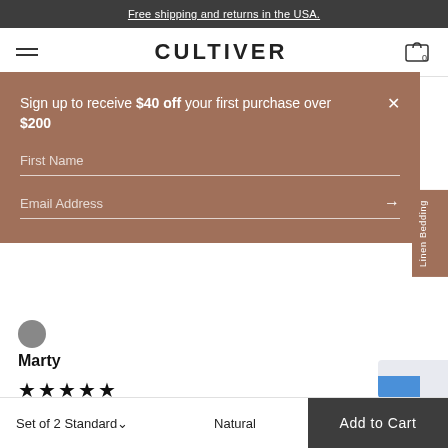Free shipping and returns in the USA.
CULTIVER
Sign up to receive $40 off your first purchase over $200
First Name
Email Address
Linen Bedding
Marty
★★★★★
I look forward to laying my head down on these pillows
Was this review helpful? Yes Report Share
ago
Set of 2 Standard   Natural   Add to Cart